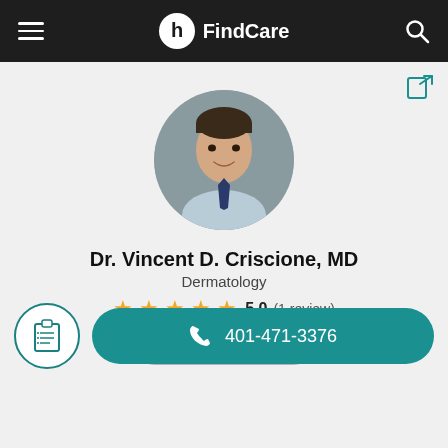FindCare
[Figure (photo): Circular profile photo of Dr. Vincent D. Criscione, MD, a male doctor in a light blue shirt and dark tie, smiling against a gray background]
Dr. Vincent D. Criscione, MD
Dermatology
5.0 (1 review)
Leave a review
401-471-3376